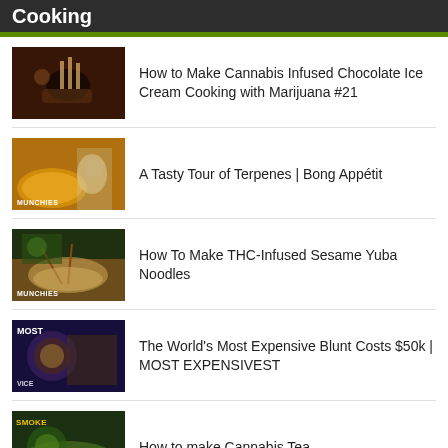Cooking
How to Make Cannabis Infused Chocolate Ice Cream Cooking with Marijuana #21
A Tasty Tour of Terpenes | Bong Appétit
How To Make THC-Infused Sesame Yuba Noodles
The World's Most Expensive Blunt Costs $50k | MOST EXPENSIVEST
How to make Cannabis Tea